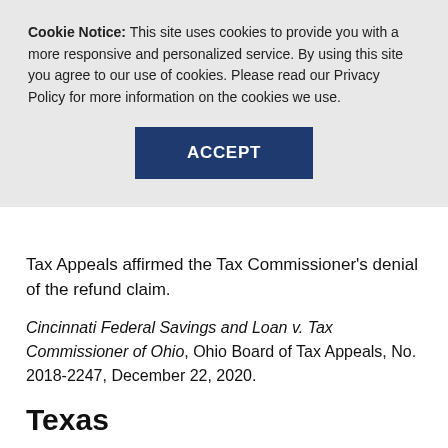Cookie Notice: This site uses cookies to provide you with a more responsive and personalized service. By using this site you agree to our use of cookies. Please read our Privacy Policy for more information on the cookies we use.
[Figure (other): ACCEPT button — dark navy blue rectangular button with white bold text 'ACCEPT']
Tax Appeals affirmed the Tax Commissioner's denial of the refund claim.
Cincinnati Federal Savings and Loan v. Tax Commissioner of Ohio, Ohio Board of Tax Appeals, No. 2018-2247, December 22, 2020.
Texas
Sales and use tax: Single local use tax rate for remote sellers announced
The Texas single local use tax rate for remote sellers is